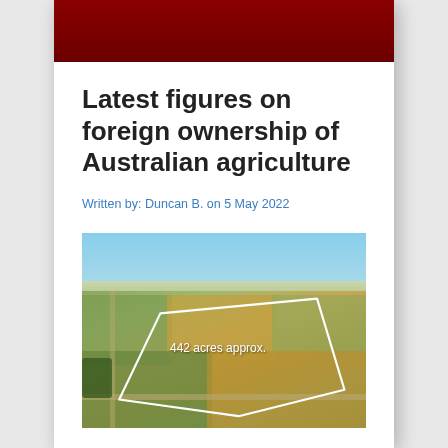[Figure (other): Dark red gradient header bar at top of page card]
Latest figures on foreign ownership of Australian agriculture
Written by: Duncan B. on 5 May 2022
[Figure (photo): Aerial photograph of Australian agricultural land showing farm fields outlined with a white boundary polygon, labeled '442 acres approx.' in the center of the outlined area. The landscape shows various crop fields in shades of green and golden-brown under a blue sky.]